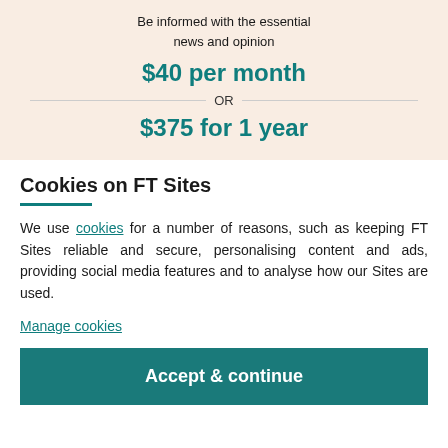Be informed with the essential news and opinion
$40 per month
OR
$375 for 1 year
Cookies on FT Sites
We use cookies for a number of reasons, such as keeping FT Sites reliable and secure, personalising content and ads, providing social media features and to analyse how our Sites are used.
Manage cookies
Accept & continue